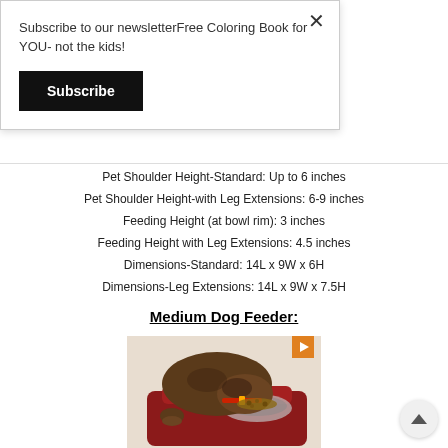Subscribe to our newsletterFree Coloring Book for YOU- not the kids!
Subscribe
Pet Shoulder Height-Standard: Up to 6 inches
Pet Shoulder Height-with Leg Extensions: 6-9 inches
Feeding Height (at bowl rim): 3 inches
Feeding Height with Leg Extensions: 4.5 inches
Dimensions-Standard: 14L x 9W x 6H
Dimensions-Leg Extensions: 14L x 9W x 7.5H
Medium Dog Feeder:
[Figure (photo): A dog eating from a red elevated dog feeder bowl, with a video play button overlay in the top-right corner of the image.]